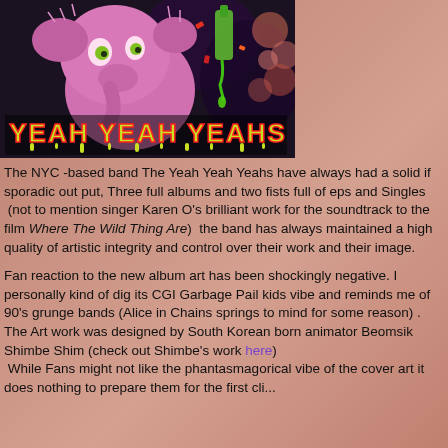[Figure (illustration): Album art for Yeah Yeah Yeahs showing a CGI pink elephant-like creature holding a dripping bottle, with the band name 'YEAH YEAH YEAHS' in green dripping grunge-style lettering at the bottom, against a dark background.]
The NYC -based band The Yeah Yeah Yeahs have always had a solid if sporadic out put, Three full albums and two fists full of eps and Singles  (not to mention singer Karen O's brilliant work for the soundtrack to the film Where The Wild Thing Are)  the band has always maintained a high quality of artistic integrity and control over their work and their image.
Fan reaction to the new album art has been shockingly negative. I personally kind of dig its CGI Garbage Pail kids vibe and reminds me of 90's grunge bands (Alice in Chains springs to mind for some reason) . The Art work was designed by South Korean born animator Beomsik Shimbe Shim (check out Shimbe's work here) While Fans might not like the phantasmagorical vibe of the cover art it does nothing to prepare them for the first clip...